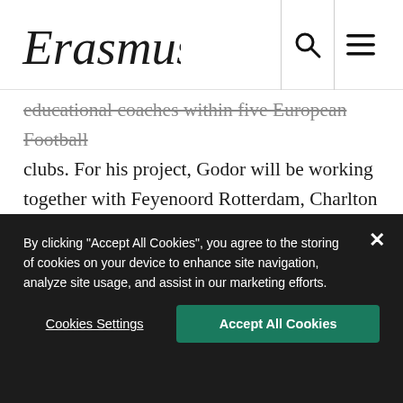Erasmus [logo]
educational coaches within five European Football clubs. For his project, Godor will be working together with Feyenoord Rotterdam, Charlton Athletic Football Club, Werder Bremen, FC Internazionale Milano (Inter-Campus) and Hibernian Football Club. The eventual final product will be a complete training manual on how to implement these new ideas as well as the academic research from the clubs themselves leading to evidence-based practice and practice-based evidence. Godor: “We look at how big football clubs such as Feyenoord
By clicking “Accept All Cookies”, you agree to the storing of cookies on your device to enhance site navigation, analyze site usage, and assist in our marketing efforts.
Cookies Settings
Accept All Cookies